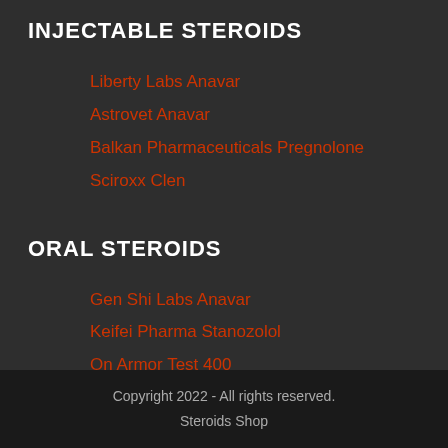INJECTABLE STEROIDS
Liberty Labs Anavar
Astrovet Anavar
Balkan Pharmaceuticals Pregnolone
Sciroxx Clen
ORAL STEROIDS
Gen Shi Labs Anavar
Keifei Pharma Stanozolol
On Armor Test 400
Primus Ray Laboratories Stanozolol
Copyright 2022 - All rights reserved.
Steroids Shop